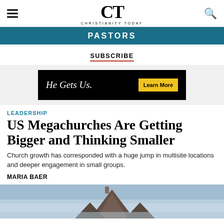CT CHRISTIANITY TODAY
PASTORS
SUBSCRIBE
[Figure (infographic): He Gets Us. Learn More advertisement banner on black background with yellow button]
LEADERSHIP
US Megachurches Are Getting Bigger and Thinking Smaller
Church growth has corresponded with a huge jump in multisite locations and deeper engagement in small groups.
MARIA BAER
[Figure (photo): Church building roofline/steeple against cloudy sky]